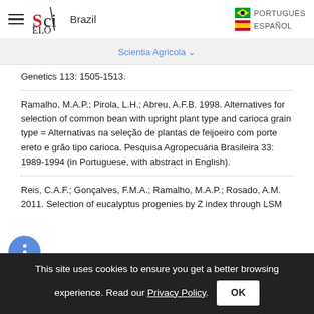SciELO Brazil | PORTUGUÊS | ESPAÑOL
Scientia Agricola ∨
Genetics 113: 1505-1513.
Ramalho, M.A.P.; Pirola, L.H.; Abreu, A.F.B. 1998. Alternatives for selection of common bean with upright plant type and carioca grain type = Alternativas na seleção de plantas de feijoeiro com porte ereto e grão tipo carioca. Pesquisa Agropecuária Brasileira 33: 1989-1994 (in Portuguese, with abstract in English).
Reis, C.A.F.; Gonçalves, F.M.A.; Ramalho, M.A.P.; Rosado, A.M. 2011. Selection of eucalyptus progenies by Z index through LSM
This site uses cookies to ensure you get a better browsing experience. Read our Privacy Policy.